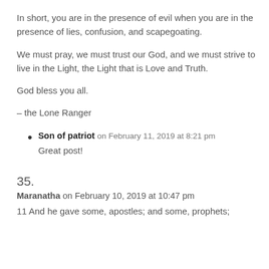In short, you are in the presence of evil when you are in the presence of lies, confusion, and scapegoating.
We must pray, we must trust our God, and we must strive to live in the Light, the Light that is Love and Truth.
God bless you all.
– the Lone Ranger
Son of patriot on February 11, 2019 at 8:21 pm
Great post!
35.
Maranatha on February 10, 2019 at 10:47 pm
11 And he gave some, apostles; and some, prophets;